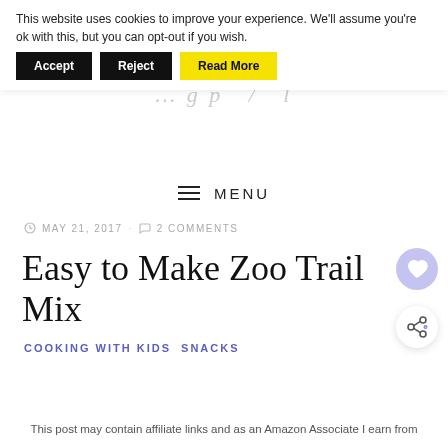This website uses cookies to improve your experience. We'll assume you're ok with this, but you can opt-out if you wish.  Accept  Reject  Read More
MENU
MAY 21, 2017 · 2 COMMENTS
Easy to Make Zoo Trail Mix
COOKING WITH KIDS  SNACKS
This post may contain affiliate links and as an Amazon Associate I earn from